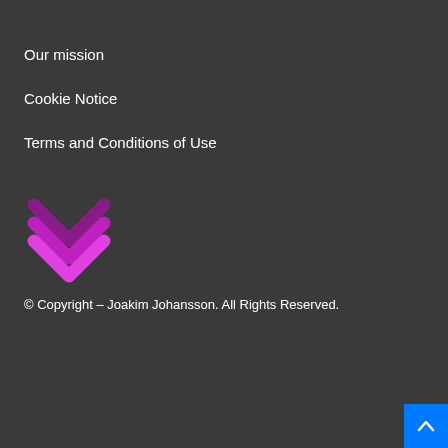Our mission
Cookie Notice
Terms and Conditions of Use
[Figure (logo): Stacked double chevron/check mark logo in magenta/pink color]
© Copyright – Joakim Johansson. All Rights Reserved.